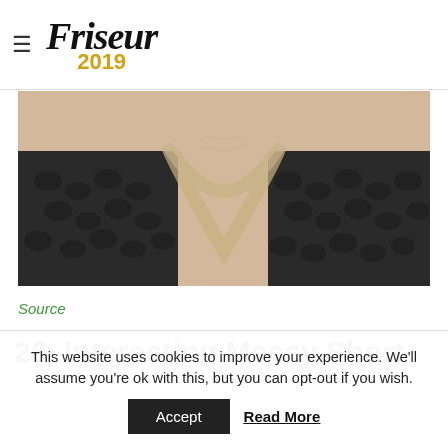≡ Friseur 2019
[Figure (photo): Close-up photo of a person's neck and shoulders wearing a dark textured scoop-neck top with a beige/nude trim along the neckline. The person has light skin and appears to have short blond hair at the top of the frame.]
Source
26. Interesting Messy Short
This website uses cookies to improve your experience. We'll assume you're ok with this, but you can opt-out if you wish.
Accept   Read More